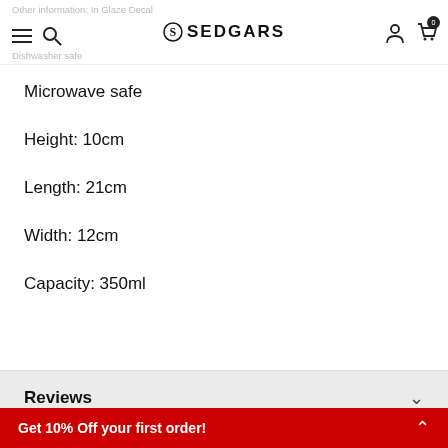Other information: In Glaze Decal | Dishwasher safe | SEDGARS
Microwave safe
Height: 10cm
Length: 21cm
Width: 12cm
Capacity: 350ml
Reviews
Shipping & Returns
Get 10% Off your first order!